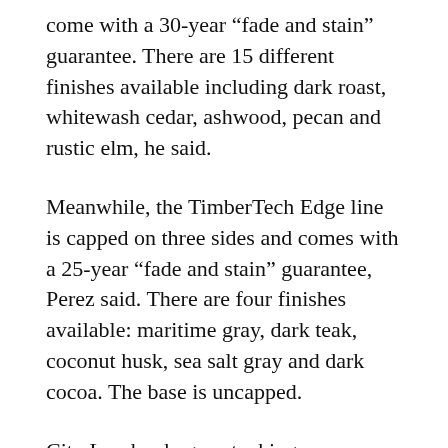come with a 30-year “fade and stain” guarantee. There are 15 different finishes available including dark roast, whitewash cedar, ashwood, pecan and rustic elm, he said.
Meanwhile, the TimberTech Edge line is capped on three sides and comes with a 25-year “fade and stain” guarantee, Perez said. There are four finishes available: maritime gray, dark teak, coconut husk, sea salt gray and dark cocoa. The base is uncapped.
City Lumber began stocking TimberTech boards around two months ago and Perez said the product line has been selling well. He said summer is almost upon us and many people are getting ready to use their decks again and are looking at using TimberTech boards.
“The feedback has been very good and there have been